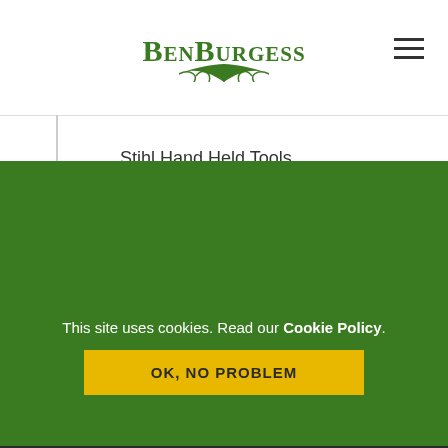BenBurgess
Stihl Hand Held Tools
Storage
Uncategorized
Merchandise
Parts & Accessories
PPE & Safety
Toys & Models
Search products...
This site uses cookies. Read our Cookie Policy.
OK, NO PROBLEM